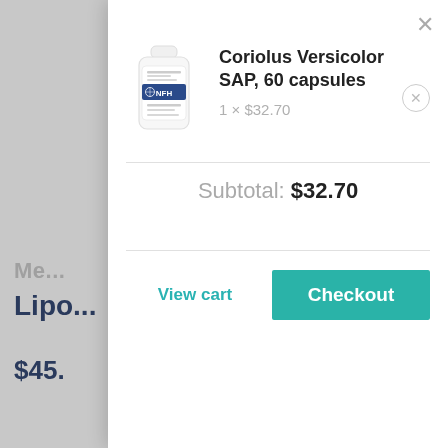[Figure (screenshot): E-commerce shopping cart modal overlay on a health supplement website. Shows product Coriolus Versicolor SAP 60 capsules at 1 x $32.70, subtotal $32.70, with View cart and Checkout buttons. Background shows partially visible product Lipo... priced at $45.]
Coriolus Versicolor SAP, 60 capsules
1 × $32.70
Subtotal: $32.70
View cart
Checkout